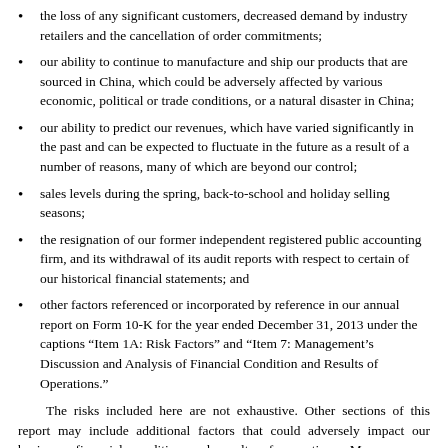the loss of any significant customers, decreased demand by industry retailers and the cancellation of order commitments;
our ability to continue to manufacture and ship our products that are sourced in China, which could be adversely affected by various economic, political or trade conditions, or a natural disaster in China;
our ability to predict our revenues, which have varied significantly in the past and can be expected to fluctuate in the future as a result of a number of reasons, many of which are beyond our control;
sales levels during the spring, back-to-school and holiday selling seasons;
the resignation of our former independent registered public accounting firm, and its withdrawal of its audit reports with respect to certain of our historical financial statements; and
other factors referenced or incorporated by reference in our annual report on Form 10-K for the year ended December 31, 2013 under the captions “Item 1A: Risk Factors” and “Item 7: Management’s Discussion and Analysis of Financial Condition and Results of Operations.”
The risks included here are not exhaustive. Other sections of this report may include additional factors that could adversely impact our business, financial condition and results of operations. Moreover, we operate in a very competitive and rapidly changing environment. New risk factors emerge from time to time and we cannot predict all such risk factors, nor can we assess the impact of all such risk factors on our business or the extent to which any factor or combination of factors may cause actual results to differ materially from those contained in any forward-looking statements. Given these risks and uncertainties, investors should not place undue reliance on forward-looking